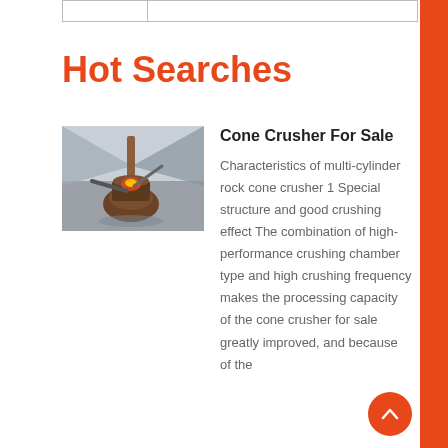|  |
Hot Searches
[Figure (photo): Photo of a cone crusher machine in operation, showing industrial crushing equipment with metallic components and dust.]
Cone Crusher For Sale
Characteristics of multi-cylinder rock cone crusher 1 Special structure and good crushing effect The combination of high-performance crushing chamber type and high crushing frequency makes the processing capacity of the cone crusher for sale greatly improved, and because of the